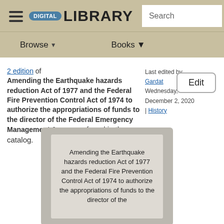DIGITAL LIBRARY — Browse | Books | Search
2 edition of Amending the Earthquake hazards reduction Act of 1977 and the Federal Fire Prevention Control Act of 1974 to authorize the appropriations of funds to the director of the Federal Emergency Management Agency ... found in the catalog.
Last edited by Gardat
Wednesday, December 2, 2020 | History
[Figure (illustration): Book cover thumbnail showing the title: Amending the Earthquake hazards reduction Act of 1977 and the Federal Fire Prevention Control Act of 1974 to authorize the appropriations of funds to the director of the]